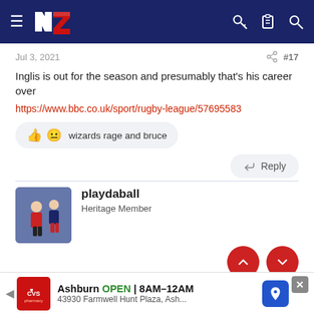NZ Rugby League forum header with navigation icons
Jul 3, 2021   #17
Inglis is out for the season and presumably that's his career over
https://www.bbc.co.uk/sport/rugby-league/57695583
wizards rage and bruce
Reply
playdaball
Heritage Member
Jul 3, 2021   #18
[Figure (screenshot): CVS Pharmacy ad: Ashburn OPEN 8AM-12AM, 43930 Farmwell Hunt Plaza, Ash...]